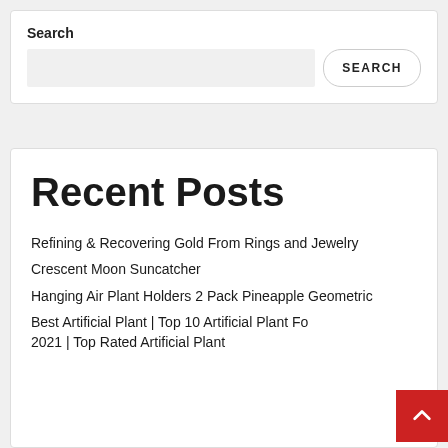Search
Recent Posts
Refining & Recovering Gold From Rings and Jewelry
Crescent Moon Suncatcher
Hanging Air Plant Holders 2 Pack Pineapple Geometric
Best Artificial Plant | Top 10 Artificial Plant For 2021 | Top Rated Artificial Plant